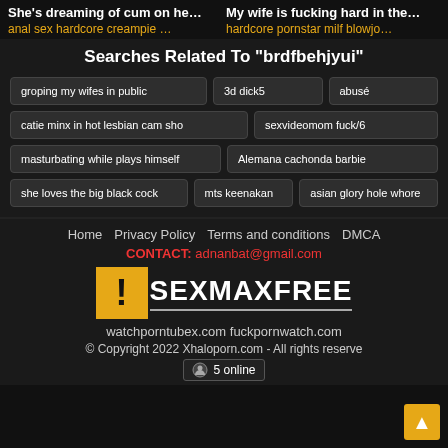She's dreaming of cum on he…
anal sex hardcore creampie …
My wife is fucking hard in the…
hardcore pornstar milf blowjo…
Searches Related To "brdfbehjyui"
groping my wifes in public
3d dick5
abusé
catie minx in hot lesbian cam sho
sexvideomom fuck/6
masturbating while plays himself
Alemana cachonda barbie
she loves the big black cock
mts keenakan
asian glory hole whore
Home   Privacy Policy   Terms and conditions   DMCA
CONTACT: adnanbat@gmail.com
SEXMAXFREE
watchporntubex.com fuckpornwatch.com
© Copyright 2022 Xhaloporn.com - All rights reserve
5 online